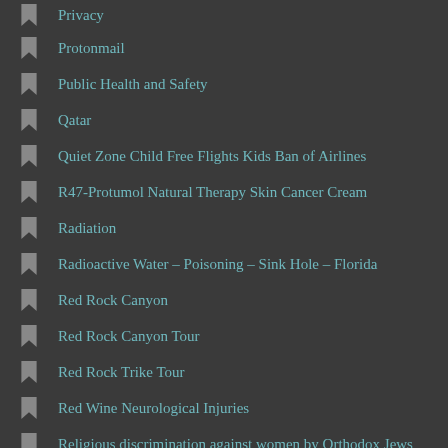Privacy
Protonmail
Public Health and Safety
Qatar
Quiet Zone Child Free Flights Kids Ban of Airlines
R47-Protumol Natural Therapy Skin Cancer Cream
Radiation
Radioactive Water – Poisoning – Sink Hole – Florida
Red Rock Canyon
Red Rock Canyon Tour
Red Rock Trike Tour
Red Wine Neurological Injuries
Religious discrimination against women by Orthodox Jews